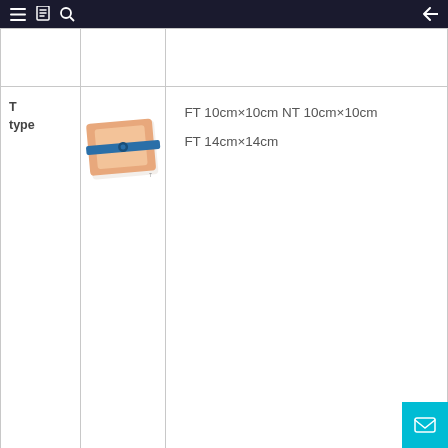Navigation bar with menu, bookmark, search, and back icons
| Type | Image | Sizes |
| --- | --- | --- |
|  |  |  |
| T type | [product image] | FT 10cm×10cm NT 10cm×10cm FT 14cm×14cm |